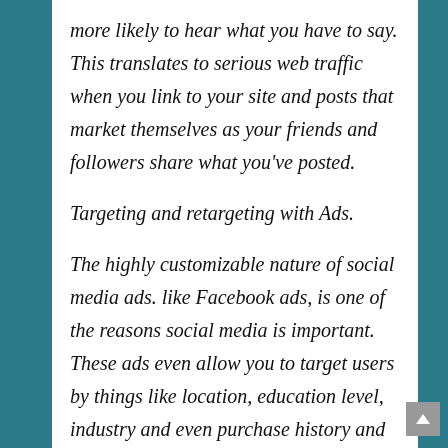more likely to hear what you have to say. This translates to serious web traffic when you link to your site and posts that market themselves as your friends and followers share what you've posted.
Targeting and retargeting with Ads.
The highly customizable nature of social media ads. like Facebook ads, is one of the reasons social media is important. These ads even allow you to target users by things like location, education level, industry and even purchase history and the pages they've liked. You also have to the option to retarget the users who visit you & even convert them into